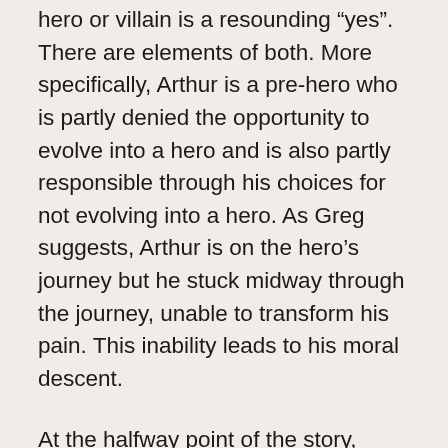hero or villain is a resounding “yes”. There are elements of both. More specifically, Arthur is a pre-hero who is partly denied the opportunity to evolve into a hero and is also partly responsible through his choices for not evolving into a hero. As Greg suggests, Arthur is on the hero’s journey but he stuck midway through the journey, unable to transform his pain. This inability leads to his moral descent.
At the halfway point of the story, Arthur is at a crossroads – he is poised to become either a hero who transcends his suffering or a villain who succumbs to it. The best image of transformation I can think of is that of a person teetering on the ridge, or apex, of a roof. He can slide down the roof in either direction, depending on his own balance and the direction of the wind. If it is a helpful wind, Arthur will “fall”